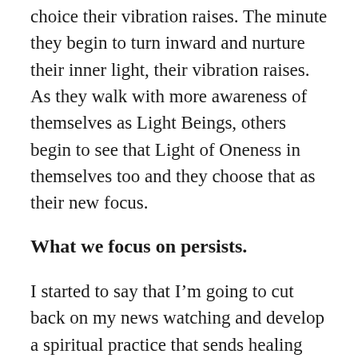choice their vibration raises. The minute they begin to turn inward and nurture their inner light, their vibration raises. As they walk with more awareness of themselves as Light Beings, others begin to see that Light of Oneness in themselves too and they choose that as their new focus.
What we focus on persists.
I started to say that I'm going to cut back on my news watching and develop a spiritual practice that sends healing energy to the earth. Lobbing Light Balls comes to mind. But that